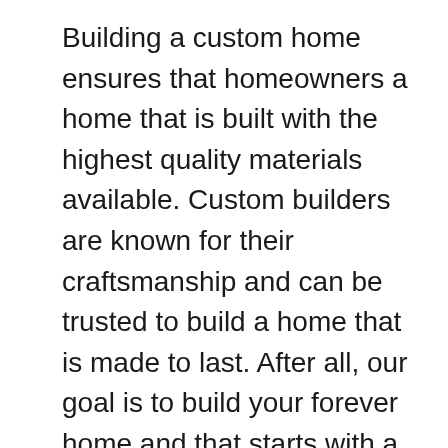Building a custom home ensures that homeowners a home that is built with the highest quality materials available. Custom builders are known for their craftsmanship and can be trusted to build a home that is made to last. After all, our goal is to build your forever home and that starts with a well-built and resilient home.
Our Harcrest Homes team of passionate building professionals is here to help you on your custom home journey. Whether you build on your own lot, or choose one of our